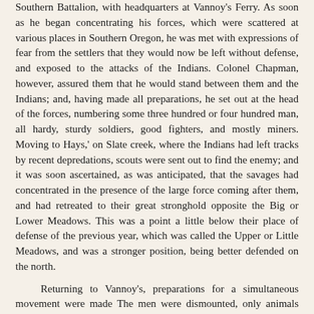Southern Battalion, with headquarters at Vannoy's Ferry. As soon as he began concentrating his forces, which were scattered at various places in Southern Oregon, he was met with expressions of fear from the settlers that they would now be left without defense, and exposed to the attacks of the Indians. Colonel Chapman, however, assured them that he would stand between them and the Indians; and, having made all preparations, he set out at the head of the forces, numbering some three hundred or four hundred man, all hardy, sturdy soldiers, good fighters, and mostly miners. Moving to Hays,' on Slate creek, where the Indians had left tracks by recent depredations, scouts were sent out to find the enemy; and it was soon ascertained, as was anticipated, that the savages had concentrated in the presence of the large force coming after them, and had retreated to their great stronghold opposite the Big or Lower Meadows. This was a point a little below their place of defense of the previous year, which was called the Upper or Little Meadows, and was a stronger position, being better defended on the north.
Returning to Vannoy's, preparations for a simultaneous movement were made The men were dismounted, only animals sufficient for the commissary being allowed; and the expedition on both banks moved forward. There was a point on the Port Orford trail known as Peavine Camp, high on the ridge, not far from the meadows on the south side, to which Chapman was to repair with his force, and from this point watch the trail below on the north that heights ascertain the movement of Lamerick and the Northern Battalion, whose force would be visible there as he went by. Reaching Peavine, Chapman waited some time in the snow, which still hung on the high ridge, but failed to discover is superior, and at length was told that his flat had been seen on the Upper Meadows. Scouts were sent ahead, who found the Indians in force under the bluff opposite the Lower Meadows; and all preparations were made for an attack, the men being eager for the work. But just at this juncture, however, a message was received by Colonel